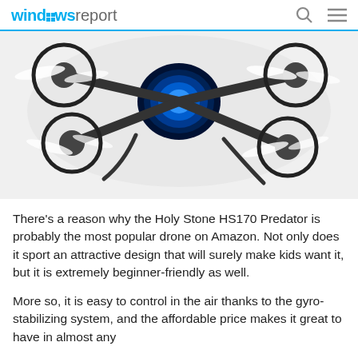windowsreport
[Figure (photo): Close-up photo of a Holy Stone HS170 Predator mini drone with black frame, white propellers, and a blue glowing LED center body, viewed from above at slight angle on white background.]
There’s a reason why the Holy Stone HS170 Predator is probably the most popular drone on Amazon. Not only does it sport an attractive design that will surely make kids want it, but it is extremely beginner-friendly as well.
More so, it is easy to control in the air thanks to the gyro-stabilizing system, and the affordable price makes it great to have in almost any